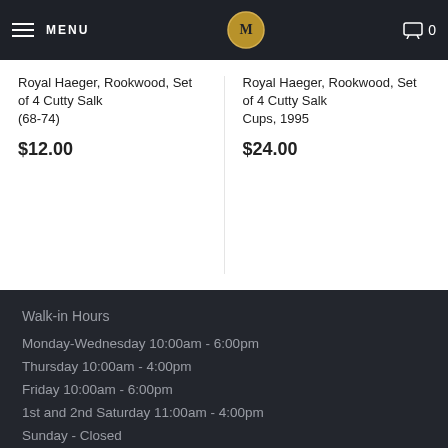MENU | [logo] | Cart 0
Royal Haeger, Rookwood, Set of 4 Cutty Salk (68-74)
$12.00
Royal Haeger, Rookwood, Set of 4 Cutty Salk Cups, 1995
$24.00
Walk-in Hours
Monday-Wednesday 10:00am - 6:00pm
Thursday 10:00am - 4:00pm
Friday 10:00am - 6:00pm
1st and 2nd Saturday 11:00am - 4:00pm
Sunday - Closed
SEARCH
HOME